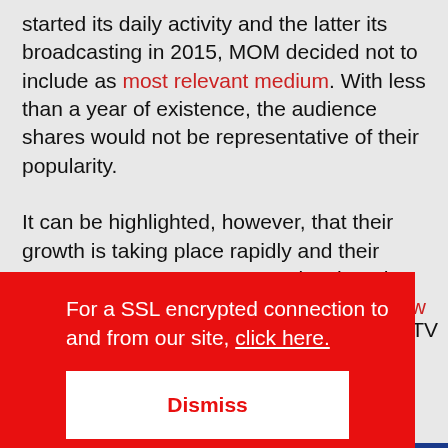started its daily activity and the latter its broadcasting in 2015, MOM decided not to include as most relevant medium. With less than a year of existence, the audience shares would not be representative of their popularity.

It can be highlighted, however, that their growth is taking place rapidly and their strategy seems more aggressive than the existing media on the market. Both are now hiring journalists and
For a SSL encrypted connection to and from our site, click here.
Dismiss